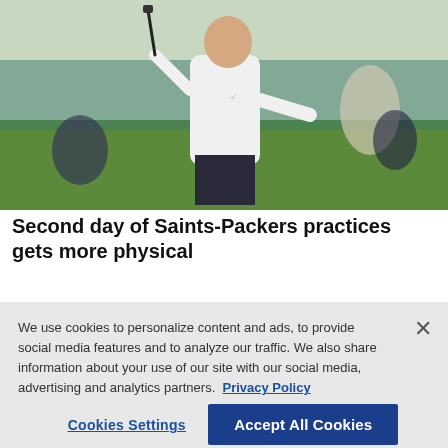[Figure (photo): A man in a white long-sleeve Nike shirt holds a stick/pointer and gestures on a football practice field. Other players are visible in the background on green turf.]
Second day of Saints-Packers practices gets more physical
We use cookies to personalize content and ads, to provide social media features and to analyze our traffic. We also share information about your use of our site with our social media, advertising and analytics partners. Privacy Policy
Cookies Settings   Accept All Cookies